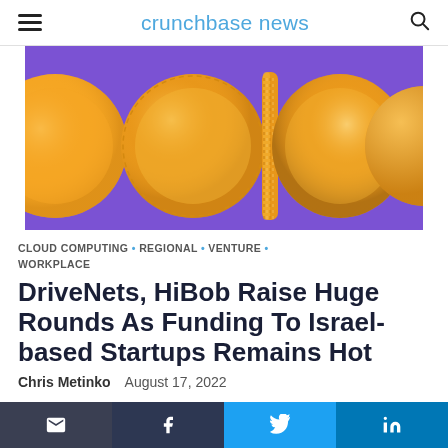crunchbase news
[Figure (illustration): Purple background with gold coins at various angles — some face-on, one edge-on, and partial coins on the sides]
CLOUD COMPUTING • REGIONAL • VENTURE • WORKPLACE
DriveNets, HiBob Raise Huge Rounds As Funding To Israel-based Startups Remains Hot
Chris Metinko   August 17, 2022
Email | Facebook | Twitter | LinkedIn